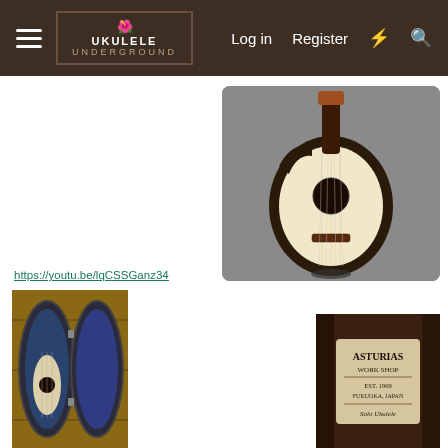UKULELE UNDERGROUND | Log in | Register
[Figure (photo): A ukulele with spruce top and dark rosewood back/sides with cutaway, on a stand, photographed against a grey background]
https://youtu.be/lqCSSGanz34
[Figure (photo): A ukulele in an open hard-shell case with dark blue velvet lining, placed on a wooden surface]
[Figure (photo): Close-up of Asturias Workshop label inside a ukulele, reading ASTURIAS WORK SHOP EST 1969 FUKUOKA JAPAN Solo Ukulele]